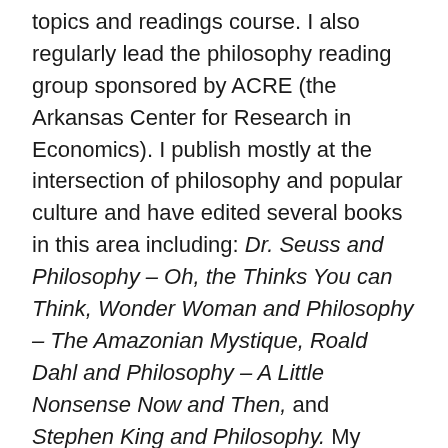topics and readings course. I also regularly lead the philosophy reading group sponsored by ACRE (the Arkansas Center for Research in Economics). I publish mostly at the intersection of philosophy and popular culture and have edited several books in this area including: Dr. Seuss and Philosophy – Oh, the Thinks You can Think, Wonder Woman and Philosophy – The Amazonian Mystique, Roald Dahl and Philosophy – A Little Nonsense Now and Then, and Stephen King and Philosophy. My current research interests include the Sophists, education, and assessment, federalism and civil liberties (primarily as it relates to due process and the 14th amendment), and the philosophy of sex and pornography. I am currently concluding work on the eighth edition of my textbook The Philosophy of Sex (eds. Halwani, Held, and McKeever) due out fall